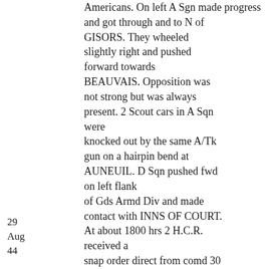Americans. On left A Sgn made progress and got through and to N of GISORS. They wheeled slightly right and pushed forward towards BEAUVAIS. Opposition was not strong but was always present. 2 Scout cars in A Sqn were knocked out by the same A/Tk gun on a hairpin bend at AUNEUIL. D Sqn pushed fwd on left flank of Gds Armd Div and made contact with INNS OF COURT. At about 1800 hrs 2 H.C.R. received a snap order direct from comd 30 Corps to push on with all speed to capture crossing over the SOMME SOUTH of AMIENS by 1000 hrs next morning. This was a most difficult order to lay on
29 Aug 44